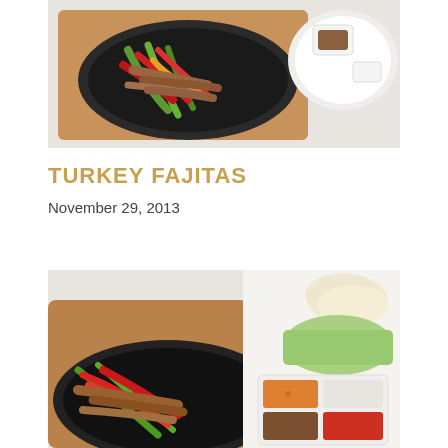[Figure (photo): Top portion of a fajita dish showing colorful sautéed peppers and meat in a cast iron skillet on a wooden board, with white condiment bowls visible on the right side]
TURKEY FAJITAS
November 29, 2013
[Figure (photo): Close-up of turkey fajitas with red and green bell peppers in a dark skillet on wooden board, alongside tortillas, shredded lettuce/cabbage, and condiment bowls with orange spice, brown sauce, and other toppings]